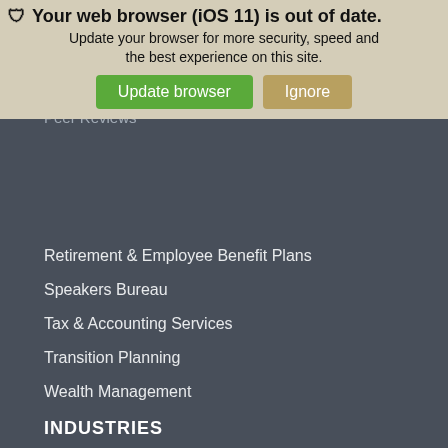Estate & Trust Services
Forensic Accounting
Human Resource Services
Peer Reviews
[Figure (screenshot): Browser update warning overlay: 'Your web browser (iOS 11) is out of date. Update your browser for more security, speed and the best experience on this site.' with 'Update browser' and 'Ignore' buttons.]
Retirement & Employee Benefit Plans
Speakers Bureau
Tax & Accounting Services
Transition Planning
Wealth Management
INDUSTRIES
Construction Accounting
Grocery & Food Service
Healthcare
Individuals & Families
Manufacturing
Non Profit Accounting
Professional Services
Transportation & Logistics Accounting